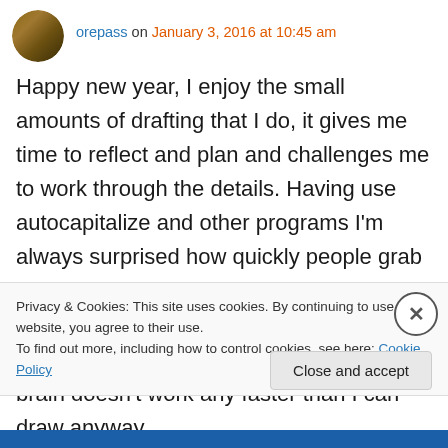orepass on January 3, 2016 at 10:45 am
Happy new year, I enjoy the small amounts of drafting that I do, it gives me time to reflect and plan and challenges me to work through the details. Having use autocapitalize and other programs I'm always surprised how quickly people grab a mouse rather than a couple of triangles and a scale. Like hand tools sometimes it's quicker to do it by hand. In reality my brain doesn't work any faster than I can draw anyway.
Privacy & Cookies: This site uses cookies. By continuing to use this website, you agree to their use.
To find out more, including how to control cookies, see here: Cookie Policy